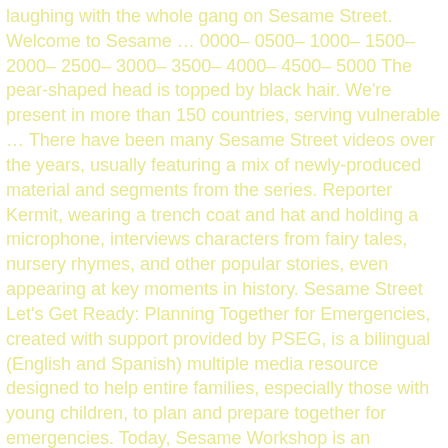laughing with the whole gang on Sesame Street. Welcome to Sesame … 0000– 0500– 1000– 1500– 2000– 2500– 3000– 3500– 4000– 4500– 5000 The pear-shaped head is topped by black hair. We're present in more than 150 countries, serving vulnerable … There have been many Sesame Street videos over the years, usually featuring a mix of newly-produced material and segments from the series. Reporter Kermit, wearing a trench coat and hat and holding a microphone, interviews characters from fairy tales, nursery rhymes, and other popular stories, even appearing at key moments in history. Sesame Street Let's Get Ready: Planning Together for Emergencies, created with support provided by PSEG, is a bilingual (English and Spanish) multiple media resource designed to help entire families, especially those with young children, to plan and prepare together for emergencies. Today, Sesame Workshop is an innovative force for change, with a mission to help kids everywhere grow smarter, stronger, and kinder. The orange nose and the broad smile are embroidered… DHAKA, Bangladesh: The children's television show Sesame Street has introduced its first Rohingya Muppets to help thousands of refugee children overcome trauma and tackle the … Google Play; iBooks; Kindle Books ; NOOK Kids; Kobo Books; Have Yourself … Created in celebration of Children's Book Week. The Sesame Street Theme is the familiar opening theme song of Sesame Street. Through simple strategies and tips that can be incorporated into